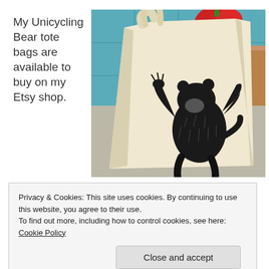My Unicycling Bear tote bags are available to buy on my Etsy shop.
[Figure (photo): A canvas tote bag with a unicycling bear illustration printed on it, sitting on a kitchen counter with blue tile backdrop and a red pepper visible at the top.]
Privacy & Cookies: This site uses cookies. By continuing to use this website, you agree to their use.
To find out more, including how to control cookies, see here: Cookie Policy
Close and accept